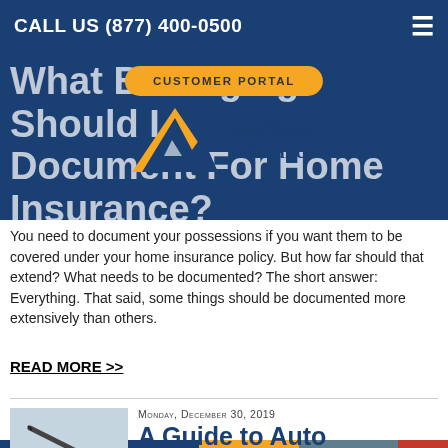CALL US (877) 400-0500
[Figure (logo): CUSTOMER PORTAL button overlay and Mayflower Insurance logo with blue/yellow mountain icon]
What Belongings Should I Document For Home Insurance?
You need to document your possessions if you want them to be covered under your home insurance policy. But how far should that extend? What needs to be documented? The short answer: Everything. That said, some things should be documented more extensively than others.
READ MORE >>
Monday, December 30, 2019
A Guide to Auto Insurance for Indiana Residents
[Figure (photo): Photo of car insurance document with pen]